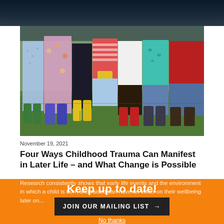[Figure (photo): Group of children standing on grass, wearing colorful rain boots, holding hands, photographed from the waist down]
November 19, 2021
Four Ways Childhood Trauma Can Manifest in Later Life – and What Change is Possible
Research consistently shows that early life events and the environment in which a child is born and raised can have an effect on their wellbeing later on...
Keep up to date!
JOIN OUR MAILING LIST →
No thanks